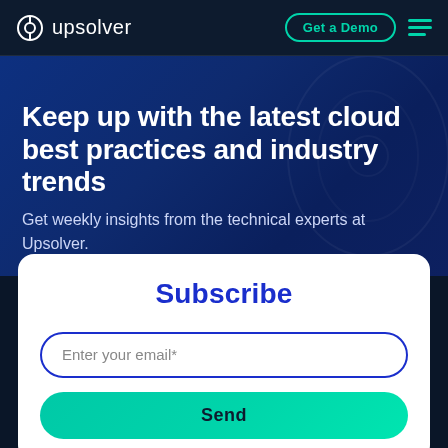upsolver — Get a Demo
Keep up with the latest cloud best practices and industry trends
Get weekly insights from the technical experts at Upsolver.
Subscribe
Enter your email*
Send